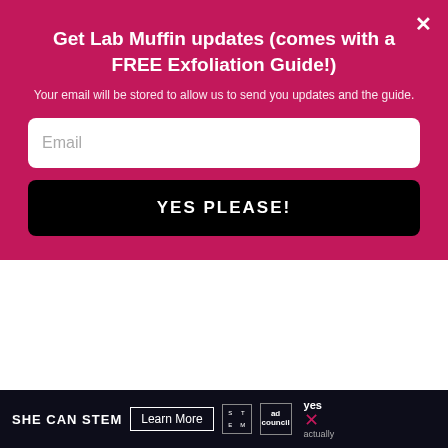Get Lab Muffin updates (comes with a FREE Exfoliation Guide!)
Your email will be stored to allow us to send you updates and the guide.
Email
YES PLEASE!
polishes.
Reply
Michelle
This is really an unusual incident – indie polish has been
SHE CAN STEM  Learn More